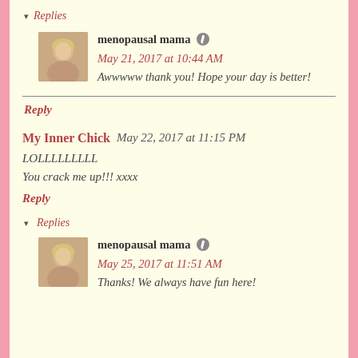▾ Replies
menopausal mama  May 21, 2017 at 10:44 AM
Awwwww thank you! Hope your day is better!
Reply
My Inner Chick  May 22, 2017 at 11:15 PM
LOLLLLLLLLL
You crack me up!!! xxxx
Reply
▾ Replies
menopausal mama  May 25, 2017 at 11:51 AM
Thanks! We always have fun here!